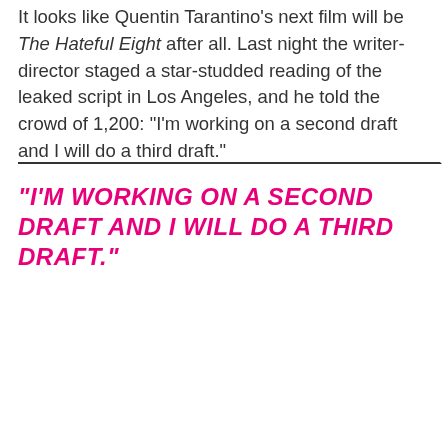It looks like Quentin Tarantino's next film will be The Hateful Eight after all. Last night the writer-director staged a star-studded reading of the leaked script in Los Angeles, and he told the crowd of 1,200: "I'm working on a second draft and I will do a third draft."
"I'M WORKING ON A SECOND DRAFT AND I WILL DO A THIRD DRAFT."